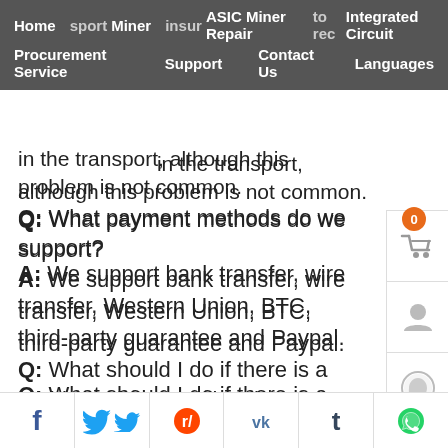avoid damage to the goods, and we can purchase transport insur to rec in the transport, although this problem is not common.
Home | Miner | ASIC Miner Repair | Integrated Circuit | Procurement Service | Support | Contact Us | Languages
Q: What payment methods do we support?
A: We support bank transfer, wire transfer, Western Union, BTC, third-party guarantee and Paypal.
Q: What should I do if there is a problem after receiving the products?
A: We have established good relationships with maintenance departments in many countries/regions in the world. For example, Venezuela, Iran, etc. If you have any questions within 3 days after receiving the goods, y
Facebook | Twitter | Reddit | VK | Tumblr | WhatsApp